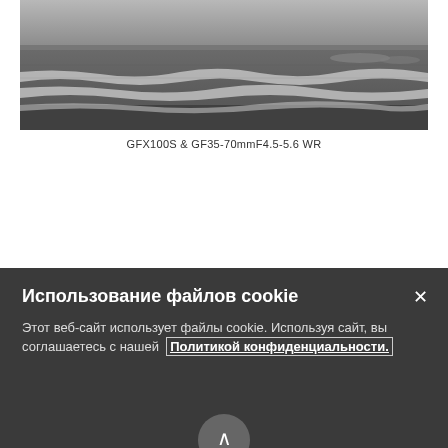[Figure (photo): Black and white photograph of ocean waves on a beach, wide panoramic view]
GFX100S & GF35-70mmF4.5-5.6 WR
« PREV   INDEX   NEXT »
Использование файлов cookie
Этот веб-сайт использует файлы cookie. Используя сайт, вы соглашаетесь с нашей Политикой конфиденциальности.